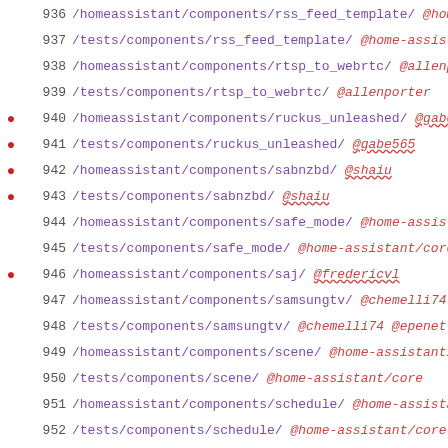936 /homeassistant/components/rss_feed_template/ @hom
937 /tests/components/rss_feed_template/ @home-assist
938 /homeassistant/components/rtsp_to_webrtc/ @allenp
939 /tests/components/rtsp_to_webrtc/ @allenporter
● 940 /homeassistant/components/ruckus_unleashed/ @gabe
● 941 /tests/components/ruckus_unleashed/ @gabe565
● 942 /homeassistant/components/sabnzbd/ @shaiu
● 943 /tests/components/sabnzbd/ @shaiu
944 /homeassistant/components/safe_mode/ @home-assist
945 /tests/components/safe_mode/ @home-assistant/core
● 946 /homeassistant/components/saj/ @fredericvl
947 /homeassistant/components/samsungtv/ @chemelli74
948 /tests/components/samsungtv/ @chemelli74 @epenet
949 /homeassistant/components/scene/ @home-assistant/
950 /tests/components/scene/ @home-assistant/core
951 /homeassistant/components/schedule/ @home-assista
952 /tests/components/schedule/ @home-assistant/core
● 953 /homeassistant/components/schluter/ @prairieapps
954 /homeassistant/components/scrape/ @fabaff
955 /tests/components/scrape/ @fabaff
● 956 /homeassistant/components/screenlogic/ @dieselrab
● 957 /tests/components/screenlogic/ @dieselrabbit @bdr
958 /homeassistant/components/script/ @home-assistant